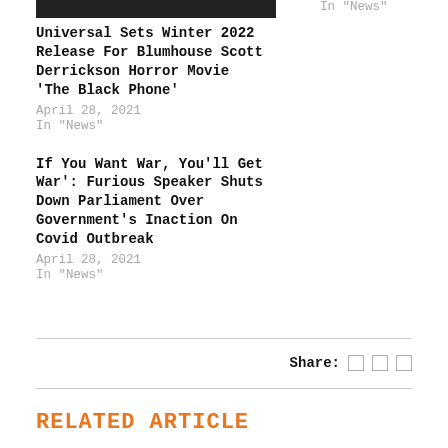[Figure (photo): Dark/black image placeholder at top of left column]
In "News"
Universal Sets Winter 2022 Release For Blumhouse Scott Derrickson Horror Movie 'The Black Phone'
April 28, 2021
In "News"
If You Want War, You'll Get War': Furious Speaker Shuts Down Parliament Over Government's Inaction On Covid Outbreak
April 28, 2021
In "News"
Share:
RELATED ARTICLE